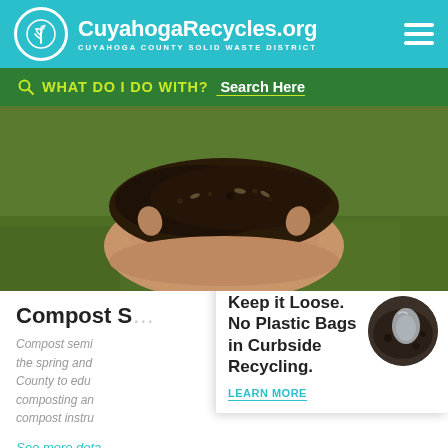CuyahogaRecycles.org — CUYAHOGA COUNTY SOLID WASTE DISTRICT
WHAT DO I DO WITH? Search Here
[Figure (photo): Hand holding dark compost/soil against a green grass background]
Compost S...
Compost semi... the spring and... County to edu... composting an... compost instru...
See more deta... and bin sales.
RECYCLING TIP
Keep it Loose. No Plastic Bags in Curbside Recycling.
LEARN MORE